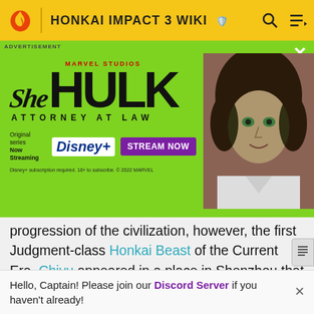HONKAI IMPACT 3 WIKI
[Figure (illustration): She-Hulk: Attorney at Law advertisement banner with green background, Marvel Studios logo, She-Hulk title text, Disney+ streaming info, Stream Now button, and actress photo]
progression of the civilization, however, the first Judgment-class Honkai Beast of the Current Era, Chiyu appeared in a place in Shenzhou that was called the Nine Realms. Nuwa and Fuxi gave their lifes to defeat the beast and Ji Xuanyuan stayed inside Chiyou's belly to guard the ancient seals to keep it under control, although
Hello, Captain! Please join our Discord Server if you haven't already!